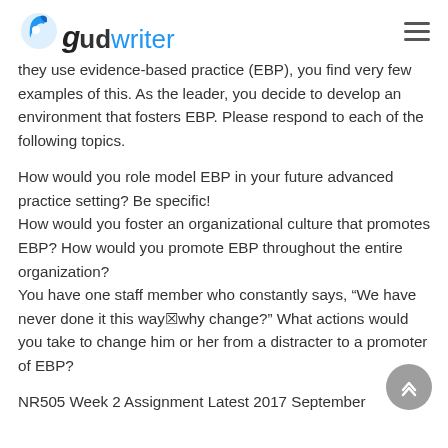gudwriter
they use evidence-based practice (EBP), you find very few examples of this. As the leader, you decide to develop an environment that fosters EBP. Please respond to each of the following topics.
How would you role model EBP in your future advanced practice setting? Be specific!
How would you foster an organizational culture that promotes EBP? How would you promote EBP throughout the entire organization?
You have one staff member who constantly says, "We have never done it this way—why change?" What actions would you take to change him or her from a distracter to a promoter of EBP?
NR505 Week 2 Assignment Latest 2017 September